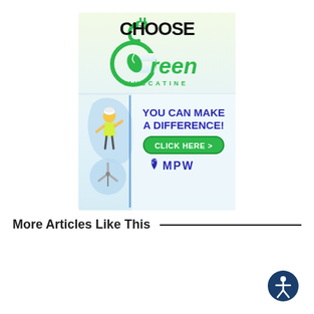[Figure (infographic): Choose Green Muscatine advertisement banner. Features the Choose Green Muscatine logo with a green plug and leaf, text 'YOU CAN MAKE A DIFFERENCE!', a 'CLICK HERE >' button, the MPW logo with a water droplet icon, and an image of a worker in a yellow vest and a wind turbine.]
More Articles Like This
[Figure (illustration): Accessibility icon: a circular dark blue badge with a white stylized person figure (universal accessibility symbol).]